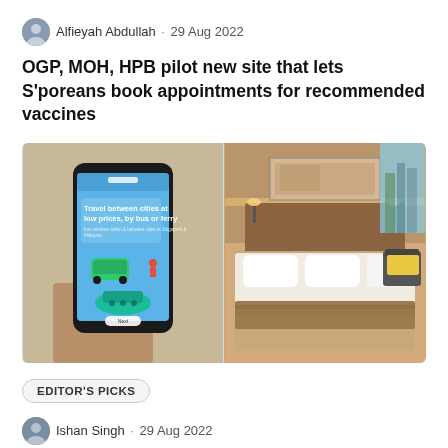Alfieyah Abdullah · 29 Aug 2022
OGP, MOH, HPB pilot new site that lets S'poreans book appointments for recommended vaccines
[Figure (photo): Two photos side by side: left shows a hand holding a smartphone displaying a travel app with text 'Travel between cities at low prices, by bus or ferry' with illustrations of a bus and ferry; right shows a luxury hotel room with a large bed, pillows, artwork on wall, and city view through window.]
EDITOR'S PICKS
Ishan Singh · 29 Aug 2022